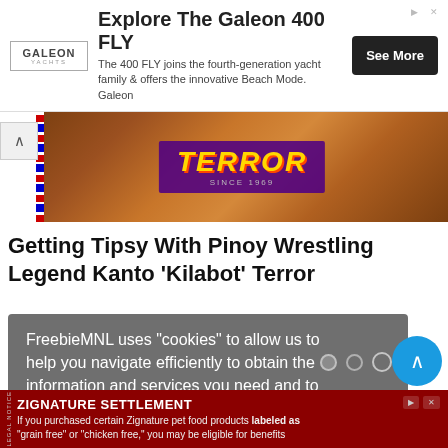[Figure (other): Advertisement banner for Galeon 400 FLY yacht with logo, description text, and See More button]
[Figure (photo): Hero image showing a wrestling or bar scene with 'TERROR SINCE 1969' text overlay on purple background]
Getting Tipsy With Pinoy Wrestling Legend Kanto ‘Kilabot’ Terror
FreebieMNL uses “cookies” to allow us to help you navigate efficiently to obtain the information and services you need and to enhance user experience. Find out more here
[Figure (other): Okay button for cookie consent]
r rticles
[Figure (other): Zignature pet food settlement advertisement banner at bottom of page]